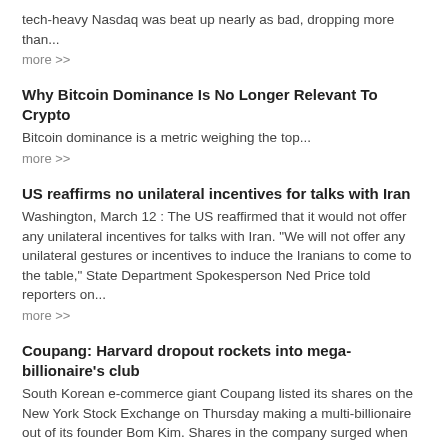tech-heavy Nasdaq was beat up nearly as bad, dropping more than...
more >>
Why Bitcoin Dominance Is No Longer Relevant To Crypto
Bitcoin dominance is a metric weighing the top...
more >>
US reaffirms no unilateral incentives for talks with Iran
Washington, March 12 : The US reaffirmed that it would not offer any unilateral incentives for talks with Iran. "We will not offer any unilateral gestures or incentives to induce the Iranians to come to the table," State Department Spokesperson Ned Price told reporters on...
more >>
Coupang: Harvard dropout rockets into mega-billionaire's club
South Korean e-commerce giant Coupang listed its shares on the New York Stock Exchange on Thursday making a multi-billionaire out of its founder Bom Kim. Shares in the company surged when they began trading, valuing the Harvard business school dropout's stake at more than $8.6bn (£6.1bn). Coupang's US listing is the biggest by an...
more >>
N Korean defectors struggle to send money home amid pandemic
For the first time in years, Choi Bok-hwa didn't get her annual birthday call from her mother in North Korea Each January, Choi's mother had climbed a